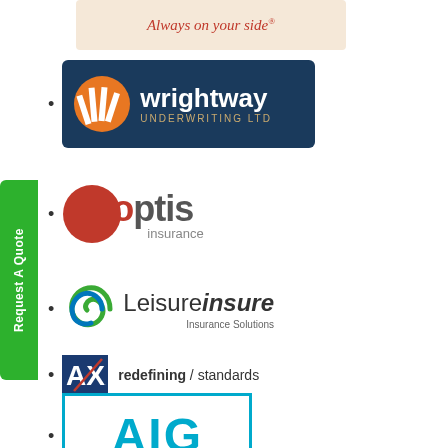[Figure (logo): Nationwide 'Always on your side' logo - partial view at top]
Wrightway Underwriting Ltd logo
Optis Insurance logo
LeisureInsure Insurance Solutions logo
AXA redefining / standards logo
AIG logo
[Figure (logo): Request A Quote green vertical tab on left side]